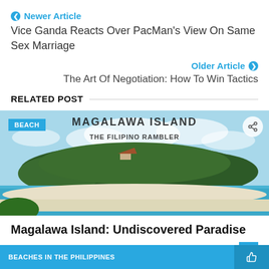❮ Newer Article
Vice Ganda Reacts Over PacMan's View On Same Sex Marriage
Older Article ❯
The Art Of Negotiation: How To Win Tactics
RELATED POST
[Figure (photo): Beach photo of Magalawa Island showing turquoise water, white sand beach, and tree-covered island. Watermark text: MAGALAWA ISLAND and THE FILIPINO RAMBLER. Badge: BEACH.]
Magalawa Island: Undiscovered Paradise
Allan B   Jul 29, 2016
BEACHES IN THE PHILIPPINES